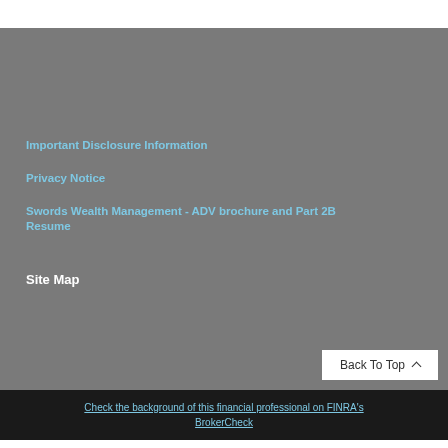Important Disclosure Information
Privacy Notice
Swords Wealth Management - ADV brochure and Part 2B Resume
Site Map
Check the background of this financial professional on FINRA's BrokerCheck